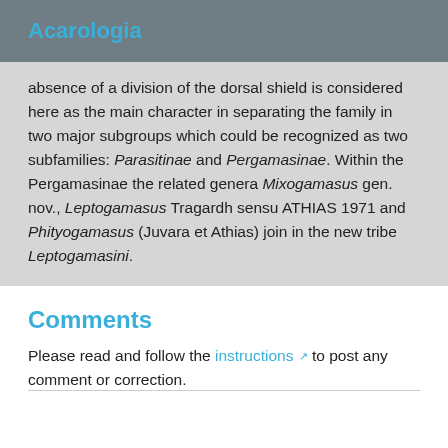Acarologia
absence of a division of the dorsal shield is considered here as the main character in separating the family in two major subgroups which could be recognized as two subfamilies: Parasitinae and Pergamasinae. Within the Pergamasinae the related genera Mixogamasus gen. nov., Leptogamasus Tragardh sensu ATHIAS 1971 and Phityogamasus (Juvara et Athias) join in the new tribe Leptogamasini.
Comments
Please read and follow the instructions ↳ to post any comment or correction.